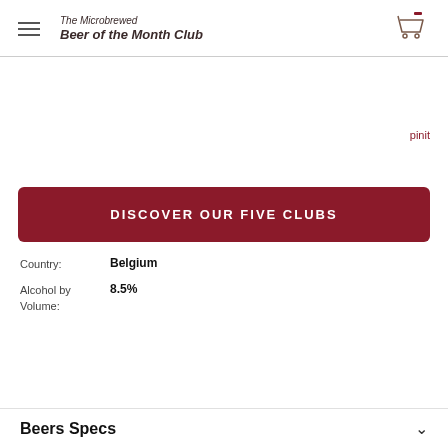The Microbrewed Beer of the Month Club
pinit
DISCOVER OUR FIVE CLUBS
| Field | Value |
| --- | --- |
| Country: | Belgium |
| Alcohol by Volume: | 8.5% |
Beers Specs